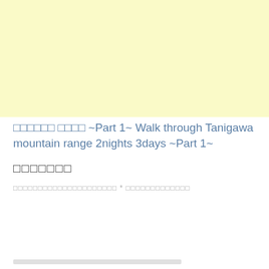[Figure (illustration): Large light yellow rectangular block occupying the top portion of the page]
□□□□□□ □□□□ ~Part 1~ Walk through Tanigawa mountain range 2nights 3days ~Part 1~
□□□□□□□
□□□□□□□□□□□□□□□□□□□□□ * □□□□□□□□□□□□□